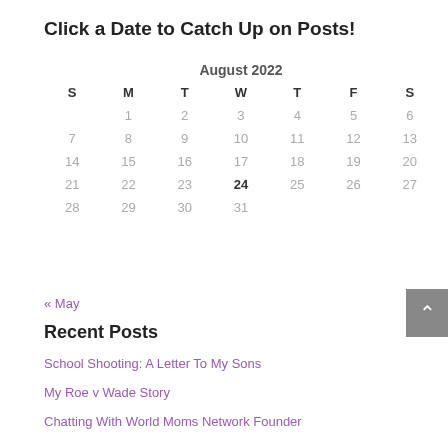Click a Date to Catch Up on Posts!
| S | M | T | W | T | F | S |
| --- | --- | --- | --- | --- | --- | --- |
|  | 1 | 2 | 3 | 4 | 5 | 6 |
| 7 | 8 | 9 | 10 | 11 | 12 | 13 |
| 14 | 15 | 16 | 17 | 18 | 19 | 20 |
| 21 | 22 | 23 | 24 | 25 | 26 | 27 |
| 28 | 29 | 30 | 31 |  |  |  |
« May
Recent Posts
School Shooting: A Letter To My Sons
My Roe v Wade Story
Chatting With World Moms Network Founder